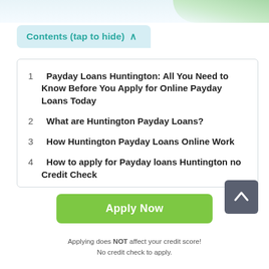Contents (tap to hide) ^
1  Payday Loans Huntington: All You Need to Know Before You Apply for Online Payday Loans Today
2  What are Huntington Payday Loans?
3  How Huntington Payday Loans Online Work
4  How to apply for Payday loans Huntington no Credit Check
5  How to Tell Whether 24 Hour Payday Loans Huntington Lender is Genuine
Apply Now
Applying does NOT affect your credit score!
No credit check to apply.